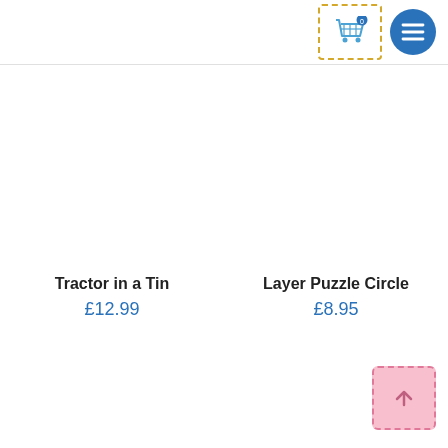[Figure (screenshot): Shopping cart icon with badge showing 0 items, inside a dashed orange border box]
[Figure (screenshot): Blue circular hamburger menu button with three horizontal lines]
Tractor in a Tin
£12.99
Layer Puzzle Circle
£8.95
[Figure (screenshot): Back to top button with upward chevron arrow, pink dashed border]